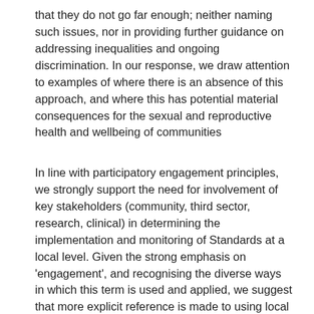that they do not go far enough; neither naming such issues, nor in providing further guidance on addressing inequalities and ongoing discrimination. In our response, we draw attention to examples of where there is an absence of this approach, and where this has potential material consequences for the sexual and reproductive health and wellbeing of communities
In line with participatory engagement principles, we strongly support the need for involvement of key stakeholders (community, third sector, research, clinical) in determining the implementation and monitoring of Standards at a local level. Given the strong emphasis on 'engagement', and recognising the diverse ways in which this term is used and applied, we suggest that more explicit reference is made to using local data to inform meaningful engagement work (and links to guidance on community engagement), so that such work does not inadvertently replicate the